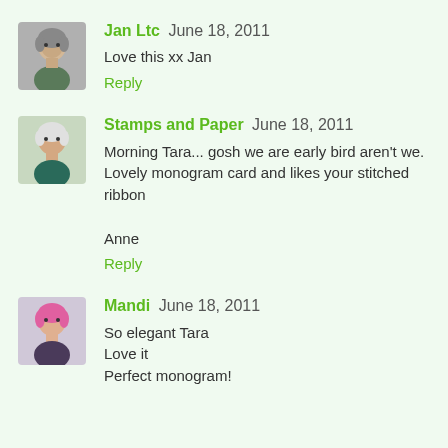[Figure (photo): Avatar photo of Jan Ltc — older woman with short gray hair]
Jan Ltc June 18, 2011
Love this xx Jan
Reply
[Figure (photo): Avatar photo of Stamps and Paper — older woman with short white hair]
Stamps and Paper June 18, 2011
Morning Tara... gosh we are early bird aren't we. Lovely monogram card and likes your stitched ribbon

Anne
Reply
[Figure (photo): Avatar photo of Mandi — woman with pink hair]
Mandi June 18, 2011
So elegant Tara
Love it
Perfect monogram!